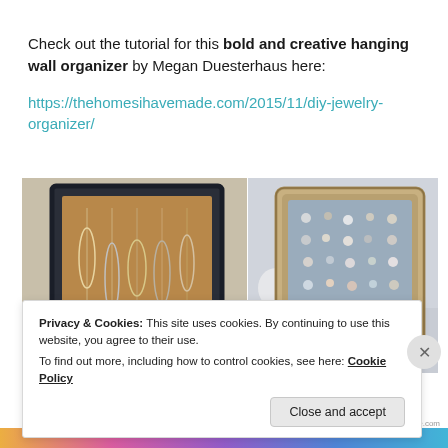Check out the tutorial for this bold and creative hanging wall organizer by Megan Duesterhaus here: https://thehomesihavemade.com/2015/11/diy-jewelry-organizer/
[Figure (photo): Two framed DIY hanging jewelry organizers side by side. Left: dark-framed board with necklaces and jewelry hanging on a cork-like background. Right: ornate gold/silver framed board with fabric backing covered in earrings and jewelry.]
Privacy & Cookies: This site uses cookies. By continuing to use this website, you agree to their use.
To find out more, including how to control cookies, see here: Cookie Policy
Close and accept